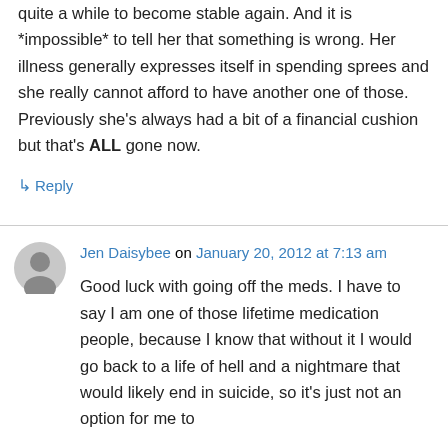quite a while to become stable again. And it is *impossible* to tell her that something is wrong. Her illness generally expresses itself in spending sprees and she really cannot afford to have another one of those. Previously she's always had a bit of a financial cushion but that's ALL gone now.
↳ Reply
Jen Daisybee on January 20, 2012 at 7:13 am
Good luck with going off the meds. I have to say I am one of those lifetime medication people, because I know that without it I would go back to a life of hell and a nightmare that would likely end in suicide, so it's just not an option for me to